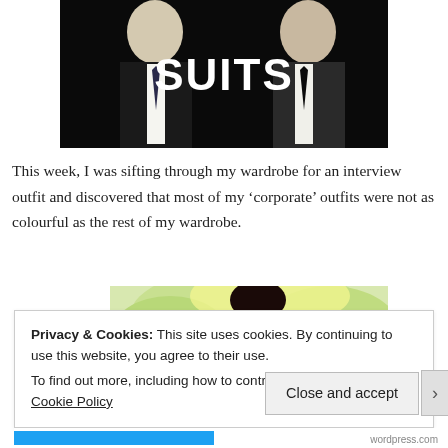[Figure (photo): Promotional image for the TV show 'SUITS' showing two men in dark suits and ties against a black background, with the word SUITS in large white bold text between them.]
This week, I was sifting through my wardrobe for an interview outfit and discovered that most of my ‘corporate’ outfits were not as colourful as the rest of my wardrobe.
[Figure (photo): Partial photo showing a person outdoors, with bright natural light and foliage in the background. Only partially visible due to cookie banner overlay.]
Privacy & Cookies: This site uses cookies. By continuing to use this website, you agree to their use.
To find out more, including how to control cookies, see here: Cookie Policy